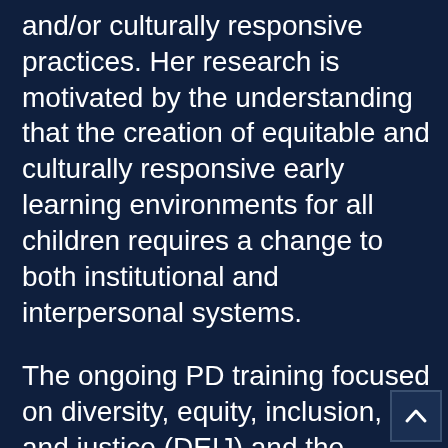and/or culturally responsive practices. Her research is motivated by the understanding that the creation of equitable and culturally responsive early learning environments for all children requires a change to both institutional and interpersonal systems.
The ongoing PD training focused on diversity, equity, inclusion, and justice (DEIJ) and the sample in this study included 46 early childhood professionals (administrators, center-based teachers, and home visitors)